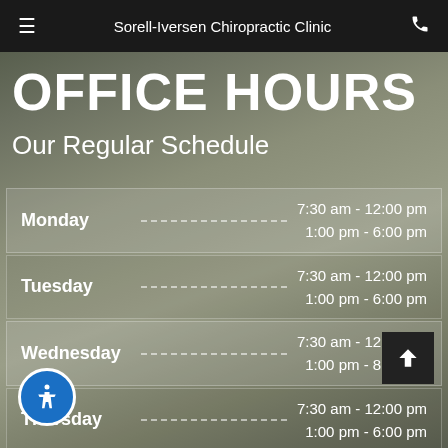Sorell-Iversen Chiropractic Clinic
OFFICE HOURS
Our Regular Schedule
| Day | Hours |
| --- | --- |
| Monday | 7:30 am - 12:00 pm
1:00 pm - 6:00 pm |
| Tuesday | 7:30 am - 12:00 pm
1:00 pm - 6:00 pm |
| Wednesday | 7:30 am - 12:00 pm
1:00 pm - 8:00 pm |
| Thursday | 7:30 am - 12:00 pm
1:00 pm - 6:00 pm |
| Friday | 7:30 am - 12:00 pm
1:00 pm - 6:00 pm |